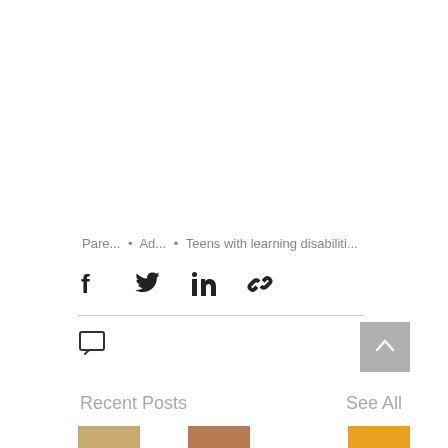Pare... • Ad... • Teens with learning disabiliti...
[Figure (other): Social share icons: Facebook, Twitter, LinkedIn, Link/chain]
[Figure (other): Comment icon and back-to-top button (grey square with up arrow)]
Recent Posts
See All
[Figure (other): Pagination dots (two grey circles) and thumbnail images at bottom]